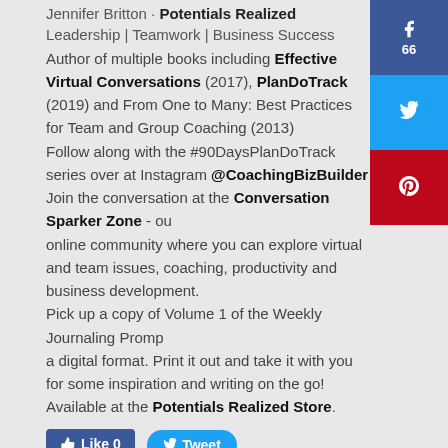Jennifer Britton · Potentials Realized
Leadership | Teamwork | Business Success
Author of multiple books including Effective Virtual Conversations (2017), PlanDoTrack (2019) and From One to Many: Best Practices for Team and Group Coaching (2013) Follow along with the #90DaysPlanDoTrack series over at Instagram @CoachingBizBuilder Join the conversation at the Conversation Sparker Zone - our online community where you can explore virtual and team issues, coaching, productivity and business development. Pick up a copy of Volume 1 of the Weekly Journaling Prompts in a digital format. Print it out and take it with you for some inspiration and writing on the go! Available at the Potentials Realized Store.
[Figure (other): Facebook share button showing 66 likes, Twitter share button, Pinterest share button]
[Figure (other): Like 0 button (Facebook) and Tweet button (Twitter)]
0 Comments
#TEAMS365 #1941 Four Teamwork